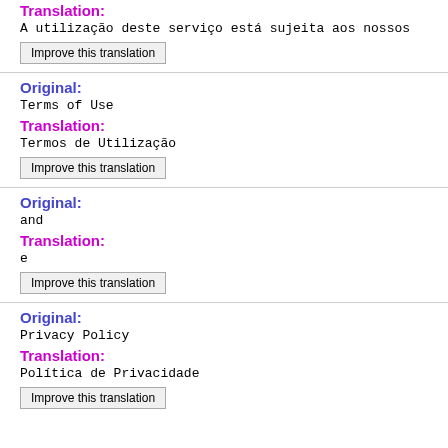Translation:
A utilização deste serviço está sujeita aos nossos
Improve this translation
Original:
Terms of Use
Translation:
Termos de Utilização
Improve this translation
Original:
and
Translation:
e
Improve this translation
Original:
Privacy Policy
Translation:
Política de Privacidade
Improve this translation